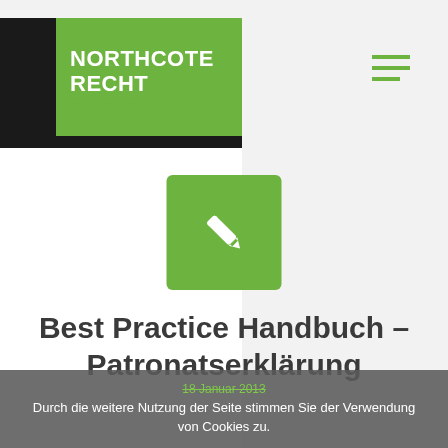NORTHCOTE RECHT
[Figure (logo): Green square logo with white bold text NORTHCOTE RECHT and hamburger menu icon in green on dark header]
[Figure (illustration): Green rounded square icon with a white pencil/edit icon in the center]
Best Practice Handbuch – Patronatserklärung
18 Januar 2013
Durch die weitere Nutzung der Seite stimmen Sie der Verwendung von Cookies zu.